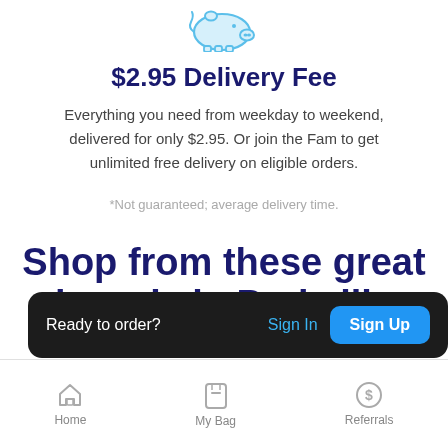[Figure (illustration): Light blue piggy bank icon at top center]
$2.95 Delivery Fee
Everything you need from weekday to weekend, delivered for only $2.95. Or join the Fam to get unlimited free delivery on eligible orders.
*Not guaranteed; average delivery time.
Shop from these great brands in Parkville
Ready to order?
Sign In
Sign Up
Home   My Bag   Referrals